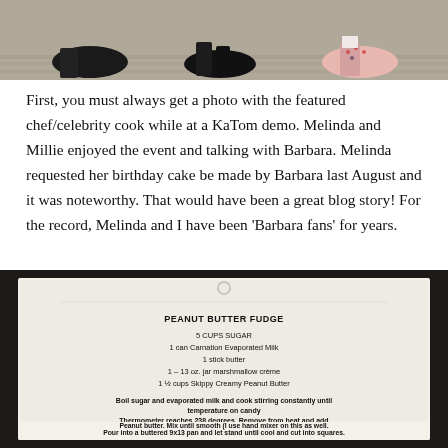[Figure (photo): Photo of several pairs of shoes/feet on a wooden floor background, cropped at top]
First, you must always get a photo with the featured chef/celebrity cook while at a KaTom demo. Melinda and Millie enjoyed the event and talking with Barbara. Melinda requested her birthday cake be made by Barbara last August and it was noteworthy. That would have been a great blog story!  For the record, Melinda and I have been ‘Barbara fans’ for years.
[Figure (photo): Photo of a printed recipe card for Peanut Butter Fudge on a dark background. The recipe lists: 5 CUPS SUGAR, 1 can Carnation Evaporated Milk, 1 stick butter, 1 – 13 oz. jar marshmallow crème, 1 ½ cups Skippy Creamy Peanut Butter. Instructions: Boil sugar and evaporated milk and cook stirring constantly until temperature on candy Thermometer reaches 238 degrees. Remove from heat and add marshmallow crème and Peanut butter. Mix until smooth (I use hand mixer on this as well. Pour into a buttered 9x13 pan and let stand until cool and cut into squares.]